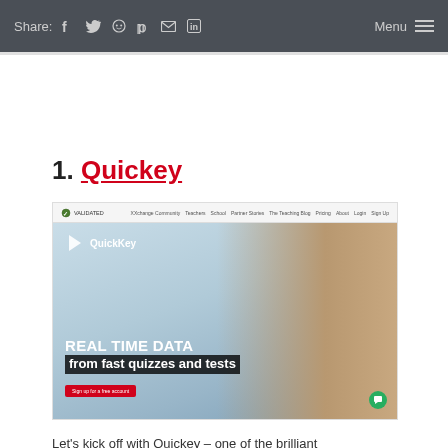Share: [social icons] Menu
1. Quickey
[Figure (screenshot): Screenshot of the QuickKey website showing a hero banner with the text 'REAL TIME DATA from fast quizzes and tests' with a smiling teacher and students in the background, and a 'Sign up for a free account' button.]
Let's kick off with Quickey – one of the brilliant